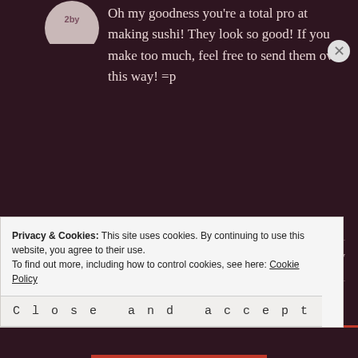[Figure (photo): Avatar image partially visible at top left - appears to be a logo or user icon]
Oh my goodness you're a total pro at making sushi! They look so good! If you make too much, feel free to send them over this way! =p
[Figure (photo): Circular avatar photo of Julie Wold - woman with dark hair smiling]
JULIE WOLD says:
September 19, 2013 at 7:39 pm
Reply
Haha, thank you!
Privacy & Cookies: This site uses cookies. By continuing to use this website, you agree to their use.
To find out more, including how to control cookies, see here: Cookie Policy
Close and accept